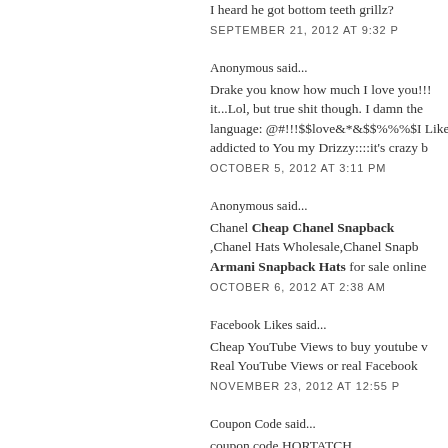I heard he got bottom teeth grillz?
SEPTEMBER 21, 2012 AT 9:32 P
Anonymous said...
Drake you know how much I love you!!! it...Lol, but true shit though. I damn the language: @#!!!$$love&*&$$%%%$I Like addicted to You my Drizzy::::it's crazy b
OCTOBER 5, 2012 AT 3:11 PM
Anonymous said...
Chanel Cheap Chanel Snapback ,Chanel Hats Wholesale,Chanel Snapb Armani Snapback Hats for sale online
OCTOBER 6, 2012 AT 2:38 AM
Facebook Likes said...
Cheap YouTube Views to buy youtube Real YouTube Views or real Facebook
NOVEMBER 23, 2012 AT 12:55 P
Coupon Code said...
coupon code HORTATCH